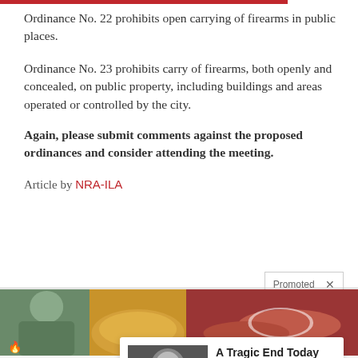Ordinance No. 22 prohibits open carrying of firearms in public places.
Ordinance No. 23 prohibits carry of firearms, both openly and concealed, on public property, including buildings and areas operated or controlled by the city.
Again, please submit comments against the proposed ordinances and consider attending the meeting.
Article by NRA-ILA
[Figure (screenshot): Promoted advertisement area showing two news article images side by side (woman and spice image on left, biological/medical image on right), with a popup overlay advertisement featuring Willie Nelson: 'A Tragic End Today For Willie Nelson - Breaking News']